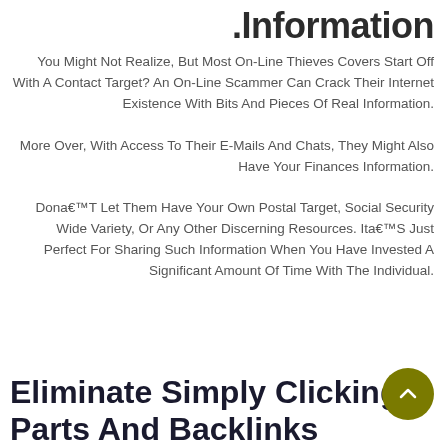.Information
You Might Not Realize, But Most On-Line Thieves Covers Start Off With A Contact Target? An On-Line Scammer Can Crack Their Internet Existence With Bits And Pieces Of Real Information. More Over, With Access To Their E-Mails And Chats, They Might Also Have Your Finances Information. Dona€™T Let Them Have Your Own Postal Target, Social Security Wide Variety, Or Any Other Discerning Resources. Ita€™S Just Perfect For Sharing Such Information When You Have Invested A Significant Amount Of Time With The Individual.
Eliminate Simply Clicking Parts And Backlinks